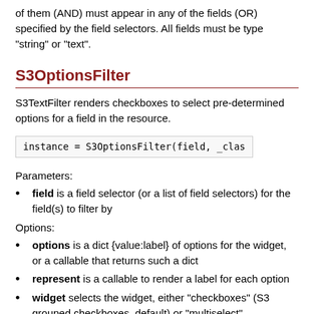of them (AND) must appear in any of the fields (OR) specified by the field selectors. All fields must be type "string" or "text".
S3OptionsFilter
S3TextFilter renders checkboxes to select pre-determined options for a field in the resource.
Parameters:
field is a field selector (or a list of field selectors) for the field(s) to filter by
Options:
options is a dict {value:label} of options for the widget, or a callable that returns such a dict
represent is a callable to render a label for each option
widget selects the widget, either "checkboxes" (S3 grouped checkboxes, default) or "multiselect"